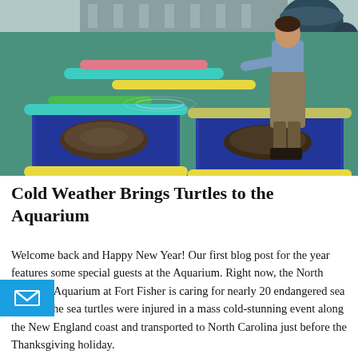[Figure (photo): A worker in waders stands beside large blue bins floating in a green pool, used to house sea turtles. The bins are separated by colorful pool noodles (yellow, pink, teal, green). Two bins in the foreground contain sea turtles. Industrial equipment is visible in the background.]
Cold Weather Brings Turtles to the Aquarium
Welcome back and Happy New Year! Our first blog post for the year features some special guests at the Aquarium. Right now, the North Carolina Aquarium at Fort Fisher is caring for nearly 20 endangered sea turtles. The sea turtles were injured in a mass cold-stunning event along the New England coast and transported to North Carolina just before the Thanksgiving holiday.